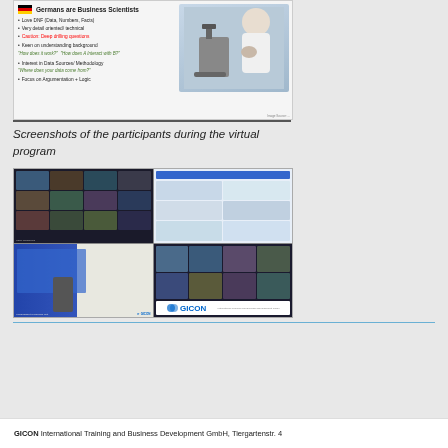[Figure (screenshot): Presentation slide titled 'Germans are Business Scientists' with German flag icon, bullet points about data orientation, caution note in red, and a scientist with microscope image on the right side]
Screenshots of the participants during the virtual program
[Figure (screenshot): Collage of four screenshots from a virtual training program showing video conference participants, software interface, a presenter with slides, and more participants. GICON logo visible.]
GICON International Training and Business Development GmbH, Tiergartenstr. 4